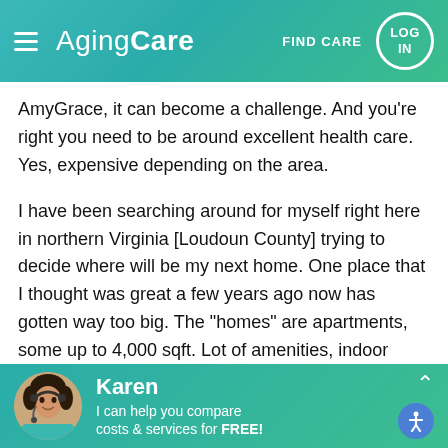AgingCare — FIND CARE   LOG IN
AmyGrace, it can become a challenge. And you're right you need to be around excellent health care. Yes, expensive depending on the area.
I have been searching around for myself right here in northern Virginia [Loudoun County] trying to decide where will be my next home. One place that I thought was great a few years ago now has gotten way too big. The "homes" are apartments, some up to 4,000 sqft. Lot of amenities, indoor swimming, gym, numerous restaurants, on-site doctor, bank
Karen — I can help you compare costs & services for FREE!